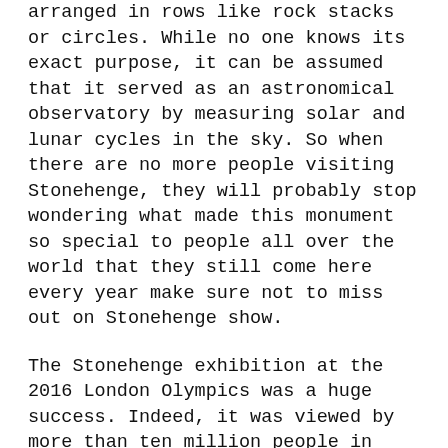arranged in rows like rock stacks or circles. While no one knows its exact purpose, it can be assumed that it served as an astronomical observatory by measuring solar and lunar cycles in the sky. So when there are no more people visiting Stonehenge, they will probably stop wondering what made this monument so special to people all over the world that they still come here every year make sure not to miss out on Stonehenge show.
The Stonehenge exhibition at the 2016 London Olympics was a huge success. Indeed, it was viewed by more than ten million people in just three days. Though it is hard to fathom the significance of this ancient landmark, there are many people who would like to know if they had photographs of this iconic site.
Stonehenge is a prehistoric megalithic monument